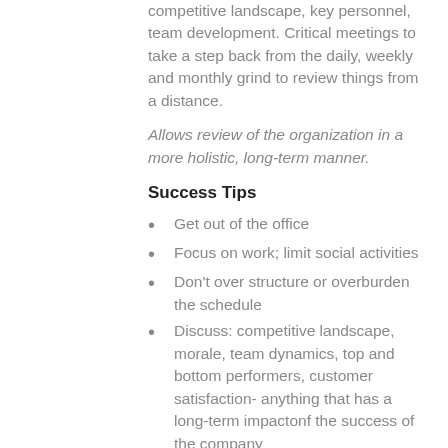competitive landscape, key personnel, team development. Critical meetings to take a step back from the daily, weekly and monthly grind to review things from a distance.
Allows review of the organization in a more holistic, long-term manner.
Success Tips
Get out of the office
Focus on work; limit social activities
Don't over structure or overburden the schedule
Discuss: competitive landscape, morale, team dynamics, top and bottom performers, customer satisfaction- anything that has a long-term impactonf the success of the company
Include: Comprehensive Strategy, Team Review, EE Review, Competitive and Industry Review...